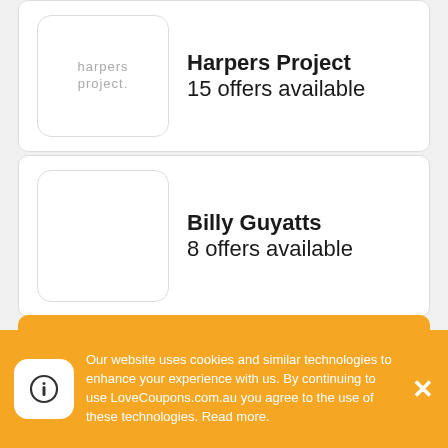Harpers Project
15 offers available
Billy Guyatts
8 offers available
Featured Stores
Myer
21 offers available
Our website uses cookies and similar technologies to enhance your experience with us. By continuing to use LoveCoupons.com.au you agree to the use of these technologies. Read more.